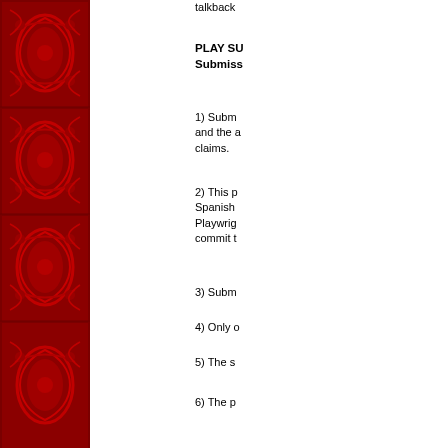[Figure (illustration): Red ornate decorative border panel with floral/damask pattern on the left side of the page]
talkback
PLAY SU Submiss
1) Subm and the a claims.
2) This p Spanish Playwrig commit t
3) Subm
4) Only o
5) The s
6) The p